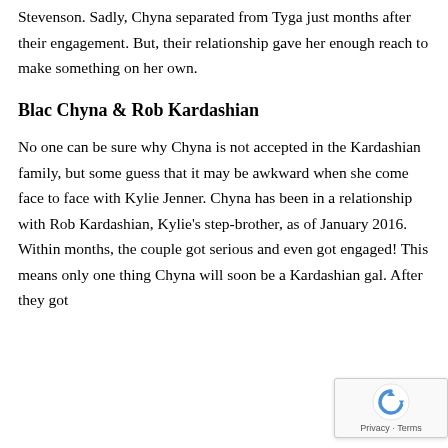Stevenson. Sadly, Chyna separated from Tyga just months after their engagement. But, their relationship gave her enough reach to make something on her own.
Blac Chyna & Rob Kardashian
No one can be sure why Chyna is not accepted in the Kardashian family, but some guess that it may be awkward when she come face to face with Kylie Jenner. Chyna has been in a relationship with Rob Kardashian, Kylie's step-brother, as of January 2016. Within months, the couple got serious and even got engaged! This means only one thing Chyna will soon be a Kardashian gal. After they got